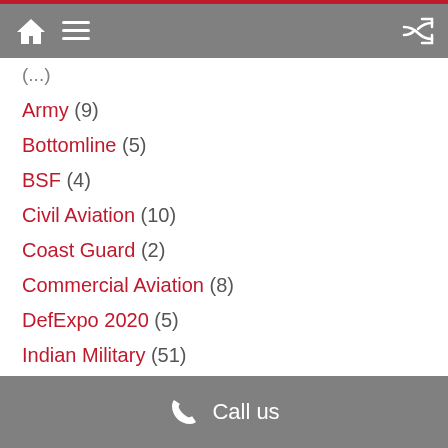Navigation header with home, menu, and shuffle icons
(...)
Army (9)
Bottomline (5)
BSF (4)
Civil Aviation (10)
Coast Guard (2)
Commercial Aviation (8)
DefExpo 2020 (5)
Indian Military (51)
Industry (15)
Industry News (1,087)
Interview (1)
Call us